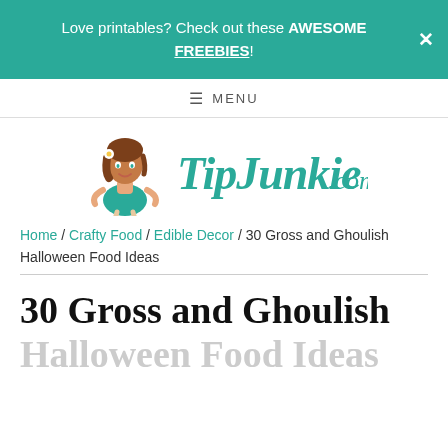Love printables? Check out these AWESOME FREEBIES!
MENU
[Figure (logo): TipJunkie.com logo with cartoon woman in teal dress and script text]
Home / Crafty Food / Edible Decor / 30 Gross and Ghoulish Halloween Food Ideas
30 Gross and Ghoulish Halloween Food Ideas